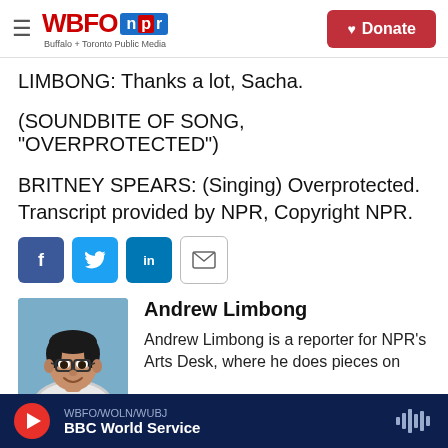WBFO npr | Buffalo + Toronto Public Media | Donate
LIMBONG: Thanks a lot, Sacha.
(SOUNDBITE OF SONG, "OVERPROTECTED")
BRITNEY SPEARS: (Singing) Overprotected. Transcript provided by NPR, Copyright NPR.
[Figure (infographic): Social sharing buttons: Facebook, Twitter, LinkedIn, Email]
[Figure (photo): Headshot of Andrew Limbong smiling, wearing glasses and a striped shirt, against a blue-grey background]
Andrew Limbong
Andrew Limbong is a reporter for NPR's Arts Desk, where he does pieces on
WBFO/WOLN/WUBJ | BBC World Service